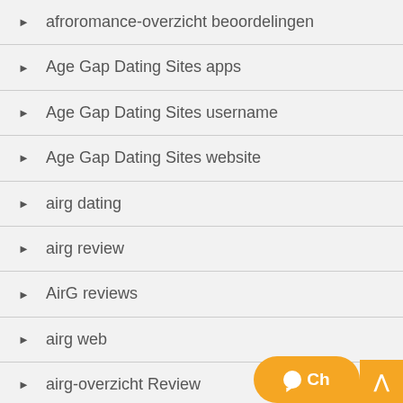afroromance-overzicht beoordelingen
Age Gap Dating Sites apps
Age Gap Dating Sites username
Age Gap Dating Sites website
airg dating
airg review
AirG reviews
airg web
airg-overzicht Review
aisle Accedere
aisle como funciona